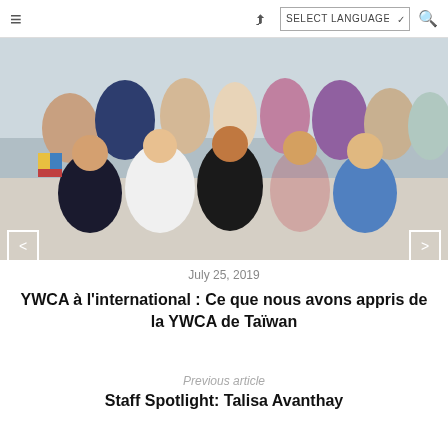≡  [share icon]  SELECT LANGUAGE  [search icon]
[Figure (photo): Group photo of approximately 15-20 people, mostly women of Asian descent, posing together indoors. Some are standing in the back row and others are crouching in the front. The photo is displayed in a carousel with left and right navigation arrows.]
July 25, 2019
YWCA à l'international : Ce que nous avons appris de la YWCA de Taïwan
Previous article
Staff Spotlight: Talisa Avanthay